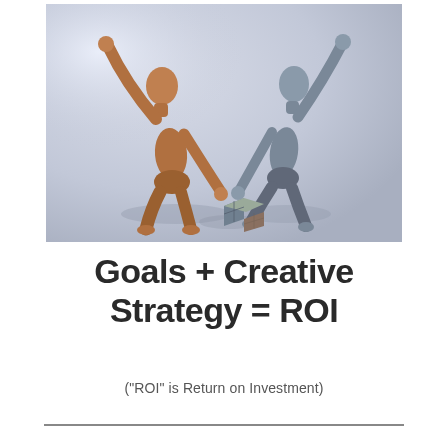[Figure (photo): Two wooden articulated mannequins standing facing each other, raising their hands to touch/high-five above a small wooden puzzle cube on the ground. Light blue-grey background with soft shadows.]
Goals + Creative Strategy = ROI
("ROI" is Return on Investment)